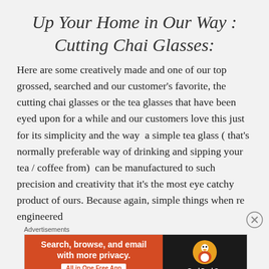Up Your Home in Our Way : Cutting Chai Glasses:
Here are some creatively made and one of our top grossed, searched and our customer's favorite, the cutting chai glasses or the tea glasses that have been eyed upon for a while and our customers love this just for its simplicity and the way  a simple tea glass ( that's normally preferable way of drinking and sipping your tea / coffee from)  can be manufactured to such precision and creativity that it's the most eye catchy product of ours. Because again, simple things when re engineered
Advertisements
[Figure (other): DuckDuckGo advertisement banner: orange left panel with text 'Search, browse, and email with more privacy. All in One Free App', dark right panel with DuckDuckGo duck logo and wordmark.]